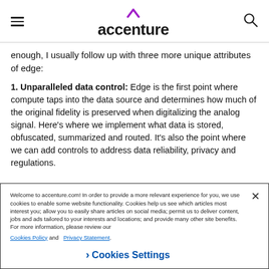accenture
enough, I usually follow up with three more unique attributes of edge:
1. Unparalleled data control: Edge is the first point where compute taps into the data source and determines how much of the original fidelity is preserved when digitalizing the analog signal. Here's where we implement what data is stored, obfuscated, summarized and routed. It's also the point where we can add controls to address data reliability, privacy and regulations.
Welcome to accenture.com! In order to provide a more relevant experience for you, we use cookies to enable some website functionality. Cookies help us see which articles most interest you; allow you to easily share articles on social media; permit us to deliver content, jobs and ads tailored to your interests and locations; and provide many other site benefits. For more information, please review our Cookies Policy and Privacy Statement.
Cookies Settings